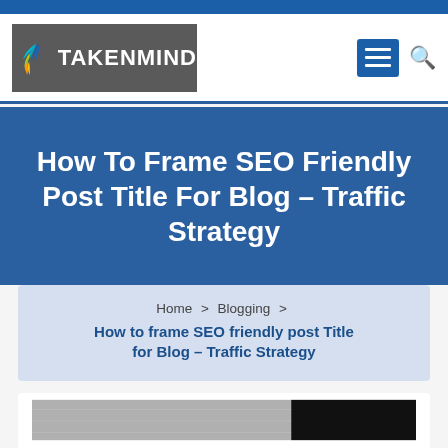[Figure (logo): Takenmind logo with wing graphic on grey background]
How To Frame SEO Friendly Post Title For Blog – Traffic Strategy
Home > Blogging > How to frame SEO friendly post Title for Blog – Traffic Strategy
[Figure (photo): Partial article thumbnail image at bottom]